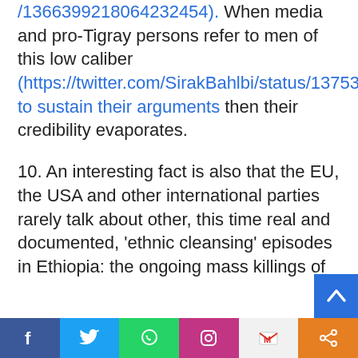/1366399218064232454). When media and pro-Tigray persons refer to men of this low caliber (https://twitter.com/SirakBahlbi/status/1375336212412526594) to sustain their arguments then their credibility evaporates.
10. An interesting fact is also that the EU, the USA and other international parties rarely talk about other, this time real and documented, 'ethnic cleansing' episodes in Ethiopia: the ongoing mass killings of
[Figure (other): Social share bar at the bottom with Facebook, Twitter, WhatsApp, Instagram, Gmail, and Share icons]